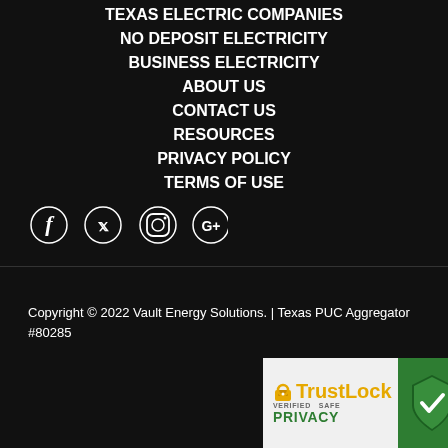TEXAS ELECTRIC COMPANIES
NO DEPOSIT ELECTRICITY
BUSINESS ELECTRICITY
ABOUT US
CONTACT US
RESOURCES
PRIVACY POLICY
TERMS OF USE
[Figure (infographic): Social media icons: Facebook, Twitter, Instagram, Google+]
Copyright © 2022 Vault Energy Solutions. | Texas PUC Aggregator #80285
[Figure (logo): TrustLock Verified Safe Privacy badge with green shield and checkmark]